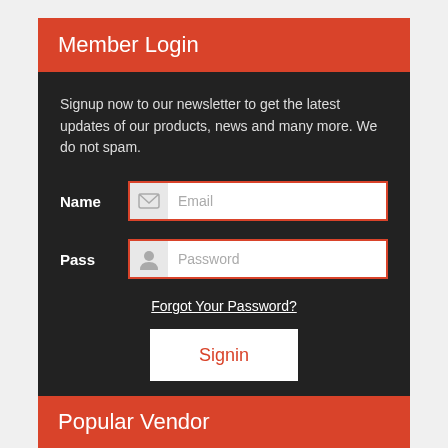Member Login
Signup now to our newsletter to get the latest updates of our products, news and many more. We do not spam.
Name  Email
Pass  Password
Forgot Your Password?
Signin
Popular Vendor